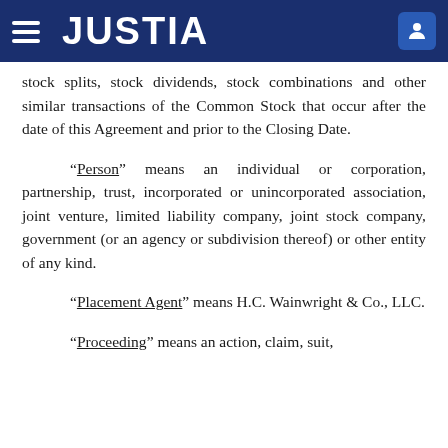JUSTIA
stock splits, stock dividends, stock combinations and other similar transactions of the Common Stock that occur after the date of this Agreement and prior to the Closing Date.
“Person” means an individual or corporation, partnership, trust, incorporated or unincorporated association, joint venture, limited liability company, joint stock company, government (or an agency or subdivision thereof) or other entity of any kind.
“Placement Agent” means H.C. Wainwright & Co., LLC.
“Proceeding” means an action, claim, suit,